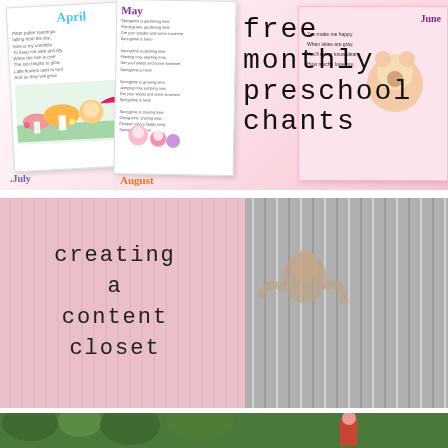[Figure (illustration): Top collage of preschool monthly chant cards (April, May, July, August, June) with colorful cartoon illustrations and text, overlaid with large serif text reading 'free monthly preschool chants' on pink background]
[Figure (photo): Middle section showing pink-tinted left half with text overlay 'creating a content closet' and right half showing black-and-white photo of child peeking through curtains]
[Figure (photo): Bottom strip showing partial view of outdoor/nature scene in green tones]